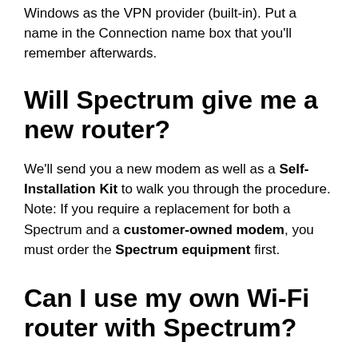Windows as the VPN provider (built-in). Put a name in the Connection name box that you’ll remember afterwards.
Will Spectrum give me a new router?
We’ll send you a new modem as well as a Self-Installation Kit to walk you through the procedure. Note: If you require a replacement for both a Spectrum and a customer-owned modem, you must order the Spectrum equipment first.
Can I use my own Wi-Fi router with Spectrum?